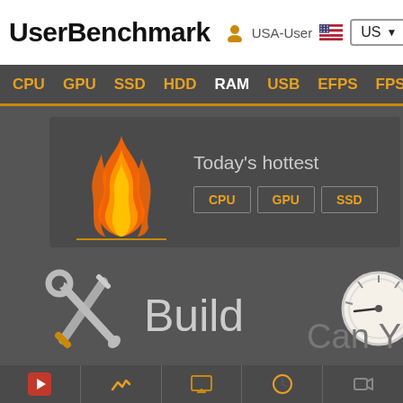UserBenchmark — USA-User — US
CPU  GPU  SSD  HDD  RAM  USB  EFPS  FPS  Sk
[Figure (screenshot): UserBenchmark website screenshot showing logo, navigation bar with CPU GPU SSD HDD RAM USB EFPS FPS tabs, a fire image with Today's hottest CPU GPU SSD tabs, Build icon with tools, partial speedometer, Can Y text, and bottom bar with icons]
Today's hottest
Build
Can Y